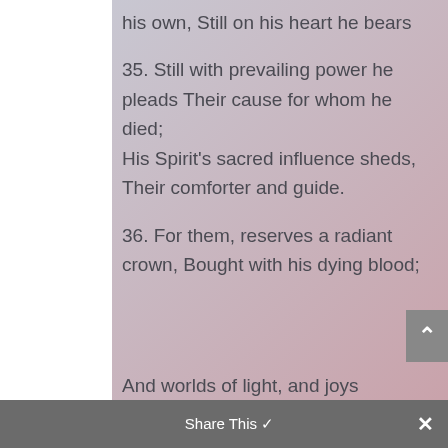his own, Still on his heart he bears
35. Still with prevailing power he pleads Their cause for whom he died; His Spirit's sacred influence sheds, Their comforter and guide.
36. For them, reserves a radiant crown, Bought with his dying blood;
And worlds of light, and joys
Share This ✕